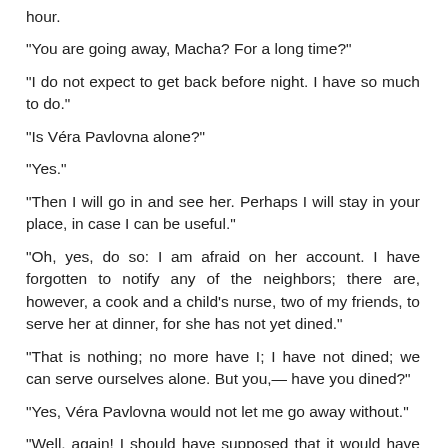hour.
“You are going away, Macha? For a long time?”
“I do not expect to get back before night. I have so much to do.”
“Is Véra Pavlovna alone?”
“Yes.”
“Then I will go in and see her. Perhaps I will stay in your place, in case I can be useful.”
“Oh, yes, do so: I am afraid on her account. I have forgotten to notify any of the neighbors; there are, however, a cook and a child’s nurse, two of my friends, to serve her at dinner, for she has not yet dined.”
“That is nothing; no more have I; I have not dined; we can serve ourselves alone. But you,— have you dined?”
“Yes, Véra Pavlovna would not let me go away without.”
“Well, again! I should have supposed that it would have been forgotten.”
Excpet Macha and those who equalled or surpassed her in